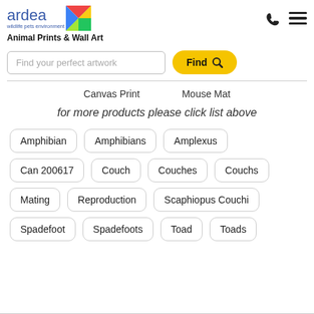[Figure (logo): Ardea wildlife pets environment logo with colorful bird/parrot graphic]
Animal Prints & Wall Art
Find your perfect artwork
Find
Canvas Print
Mouse Mat
for more products please click list above
Amphibian
Amphibians
Amplexus
Can 200617
Couch
Couches
Couchs
Mating
Reproduction
Scaphiopus Couchi
Spadefoot
Spadefoots
Toad
Toads